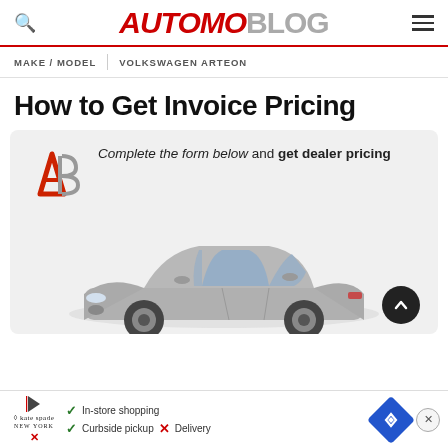AUTOMOBLOG
MAKE / MODEL | VOLKSWAGEN ARTEON
How to Get Invoice Pricing
[Figure (infographic): AutomoBlog branded promo box with AB logo, text 'Complete the form below and get dealer pricing', and a silver Volkswagen Arteon sedan car image below. A dark circular up-arrow button appears at the bottom right.]
In-store shopping ✓ Curbside pickup ✗ Delivery